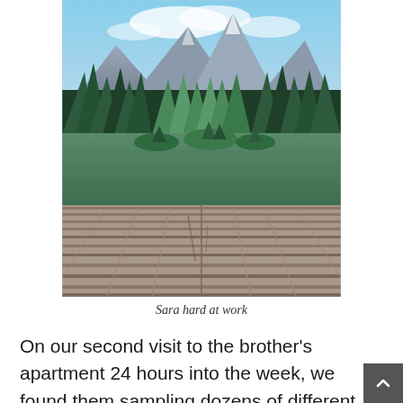[Figure (photo): A scenic mountain lake photograph viewed from a weathered wooden dock/boardwalk in the foreground. Green water reflects small forested islands. Dense evergreen trees line the shores, with snow-capped mountain peaks visible in the background under a partly cloudy blue sky.]
Sara hard at work
On our second visit to the brother's apartment 24 hours into the week, we found them sampling dozens of different kinds of English...